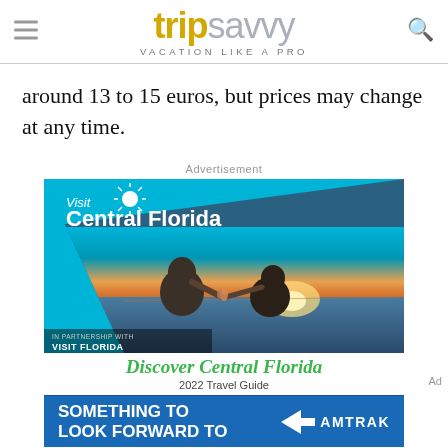tripsavvy VACATION LIKE A PRO
around 13 to 15 euros, but prices may change at any time.
Advertisement
[Figure (photo): Visit Central Florida advertisement showing a couple toasting drinks at sunset near a waterfront. Text reads 'Visit Central Florida' and 'Discover Central Florida' with 'IN PARTNERSHIP WITH VISIT FLORIDA' branding.]
[Figure (photo): Amtrak advertisement banner with blue background reading 'SOMETHING TO LOOK FORWARD TO' with the Amtrak logo.]